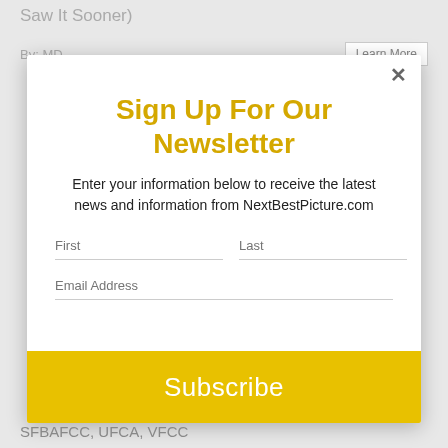Saw It Sooner)
By: MD   Learn More
Sign Up For Our Newsletter
Enter your information below to receive the latest news and information from NextBestPicture.com
First   Last   Email Address
Subscribe
SFBAFCC, UFCA, VFCC